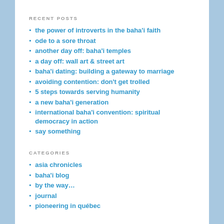RECENT POSTS
the power of introverts in the baha'i faith
ode to a sore throat
another day off: baha'i temples
a day off: wall art & street art
baha'i dating: building a gateway to marriage
avoiding contention: don't get trolled
5 steps towards serving humanity
a new baha'i generation
international baha'i convention: spiritual democracy in action
say something
CATEGORIES
asia chronicles
baha'i blog
by the way...
journal
pioneering in québec